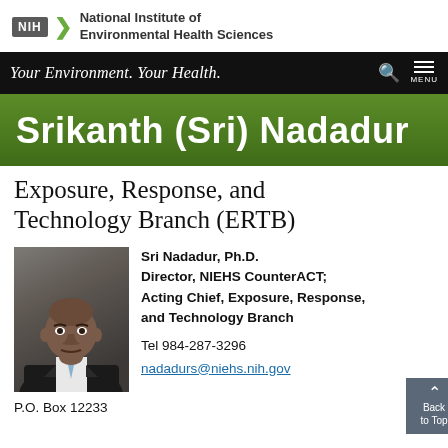NIH | National Institute of Environmental Health Sciences
Your Environment. Your Health.
Srikanth (Sri) Nadadur
Exposure, Response, and Technology Branch (ERTB)
[Figure (photo): Headshot photo of Sri Nadadur in a suit]
Sri Nadadur, Ph.D.
Director, NIEHS CounterACT;
Acting Chief, Exposure, Response, and Technology Branch

Tel 984-287-3296
nadadurs@niehs.nih.gov
P.O. Box 12233